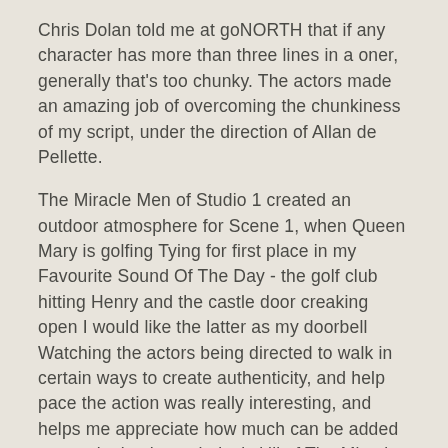Chris Dolan told me at goNORTH that if any character has more than three lines in a oner, generally that's too chunky. The actors made an amazing job of overcoming the chunkiness of my script, under the direction of Allan de Pellette.
The Miracle Men of Studio 1 created an outdoor atmosphere for Scene 1, when Queen Mary is golfing Tying for first place in my Favourite Sound Of The Day - the golf club hitting Henry and the castle door creaking open I would like the latter as my doorbell Watching the actors being directed to walk in certain ways to create authenticity, and help pace the action was really interesting, and helps me appreciate how much can be added to a script by the technical skill of The Miracle Men The process taught me a great deal of a) what I do wrong as a writer; b) what I should aspire to incorporate next time; and c) sharing characters with a director, actors and Miracle Men could become addictive.
I had to leave for my Amsterdam flight, so unfortunately never heard the recording of Scene 3, which I am hoping